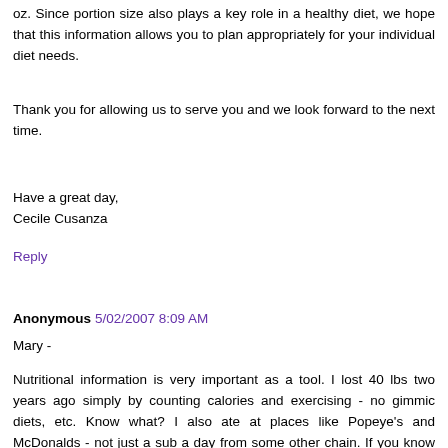oz. Since portion size also plays a key role in a healthy diet, we hope that this information allows you to plan appropriately for your individual diet needs.
Thank you for allowing us to serve you and we look forward to the next time.
Have a great day,
Cecile Cusanza
Reply
Anonymous 5/02/2007 8:09 AM
Mary -
Nutritional information is very important as a tool. I lost 40 lbs two years ago simply by counting calories and exercising - no gimmic diets, etc. Know what? I also ate at places like Popeye's and McDonalds - not just a sub a day from some other chain. If you know what's in food - even "unhealthy" food, you can plan your diet accordingly.